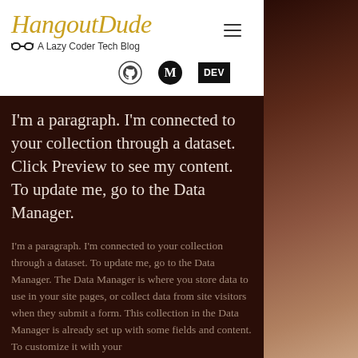HangoutDude – A Lazy Coder Tech Blog
[Figure (logo): HangoutDude logo with italic serif script in gold/amber color, with glasses icon and tagline 'A Lazy Coder Tech Blog']
[Figure (infographic): Social icons row: GitHub logo, Medium 'M' badge, DEV badge]
I'm a paragraph. I'm connected to your collection through a dataset. Click Preview to see my content. To update me, go to the Data Manager.
I'm a paragraph. I'm connected to your collection through a dataset. To update me, go to the Data Manager. The Data Manager is where you store data to use in your site pages, or collect data from site visitors when they submit a form. This collection in the Data Manager is already set up with some fields and content. To customize it with your